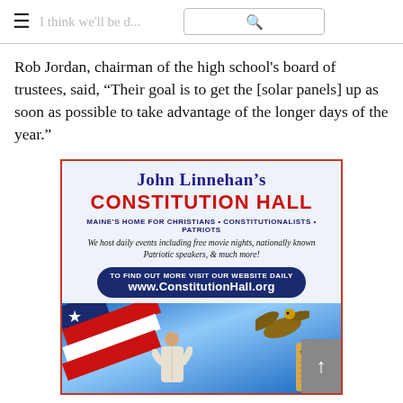I think we'll be d...
Rob Jordan, chairman of the high school's board of trustees, said, “Their goal is to get the [solar panels] up as soon as possible to take advantage of the longer days of the year.”
[Figure (infographic): Advertisement for John Linnehan's Constitution Hall. Blue and red text on light blue background with American flag, eagle, Jesus figure and Constitution scroll imagery. Text reads: John Linnehan's CONSTITUTION HALL, MAINE'S HOME FOR CHRISTIANS • CONSTITUTIONALISTS • PATRIOTS, We host daily events including free movie nights, nationally known Patriotic speakers, & much more! To find out more visit our website DAILY www.ConstitutionHall.org]
The solar array is projected to produce 515,500